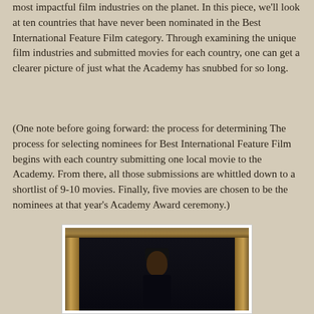most impactful film industries on the planet. In this piece, we'll look at ten countries that have never been nominated in the Best International Feature Film category. Through examining the unique film industries and submitted movies for each country, one can get a clearer picture of just what the Academy has snubbed for so long.
(One note before going forward: the process for determining The process for selecting nominees for Best International Feature Film begins with each country submitting one local movie to the Academy. From there, all those submissions are whittled down to a shortlist of 9-10 movies. Finally, five movies are chosen to be the nominees at that year's Academy Award ceremony.)
[Figure (photo): A dark, atmospheric photo of a person standing in a doorway or under a doorframe. The figure appears to be wearing dark clothing and a dark head covering. The surrounding frame appears to be an old, worn wooden or stone door frame with golden-brown tones, contrasting with the very dark interior background. The subject looks directly at the camera with a serious expression.]